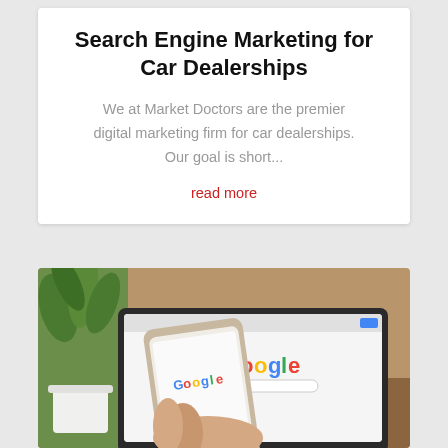Search Engine Marketing for Car Dealerships
We at Market Doctors are the premier digital marketing firm for car dealerships. Our goal is short...
read more
[Figure (photo): Person holding a smartphone displaying Google search page in front of a laptop also showing Google search page, with a plant in the background on a desk]